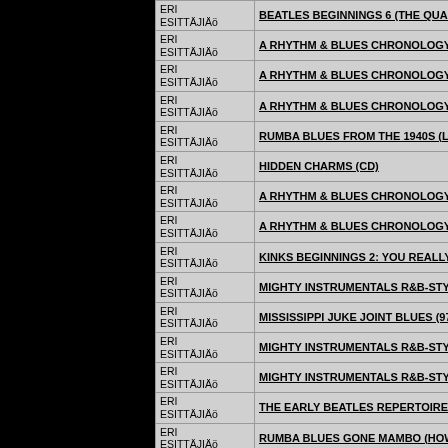| Esittäjä | Title |
| --- | --- |
| ERI ESITTÄJÄJÄ | BEATLES BEGINNINGS 6 (THE QUA... |
| ERI ESITTÄJÄJÄ | A RHYTHM & BLUES CHRONOLOGY... |
| ERI ESITTÄJÄJÄ | A RHYTHM & BLUES CHRONOLOGY... |
| ERI ESITTÄJÄJÄ | A RHYTHM & BLUES CHRONOLOGY... |
| ERI ESITTÄJÄJÄ | RUMBA BLUES FROM THE 1940S (L... |
| ERI ESITTÄJÄJÄ | HIDDEN CHARMS (CD) |
| ERI ESITTÄJÄJÄ | A RHYTHM & BLUES CHRONOLOGY... |
| ERI ESITTÄJÄJÄ | A RHYTHM & BLUES CHRONOLOGY... |
| ERI ESITTÄJÄJÄ | KINKS BEGINNINGS 2: YOU REALLY... |
| ERI ESITTÄJÄJÄ | MIGHTY INSTRUMENTALS R&B-STY... |
| ERI ESITTÄJÄJÄ | MISSISSIPPI JUKE JOINT BLUES (97... |
| ERI ESITTÄJÄJÄ | MIGHTY INSTRUMENTALS R&B-STY... |
| ERI ESITTÄJÄJÄ | MIGHTY INSTRUMENTALS R&B-STY... |
| ERI ESITTÄJÄJÄ | THE EARLY BEATLES REPERTOIRE... |
| ERI ESITTÄJÄJÄ | RUMBA BLUES GONE MAMBO (HOW... |
| ERI ESITTÄJÄJÄ | SOHO SCENE â€˜63 (JAZZ GOES MO... |
| ERI ESITTÄJÄJÄ | MIGHTY INSTRUMENTALS R&B-STY... |
| ERI ESITTÄJÄJÄ | MIGHTY INSTRUMENTALS R&B-STY... |
| ERI ESITTÄJÄJÄ | KINKS BEGINNINGS 2CD SET (2CD... |